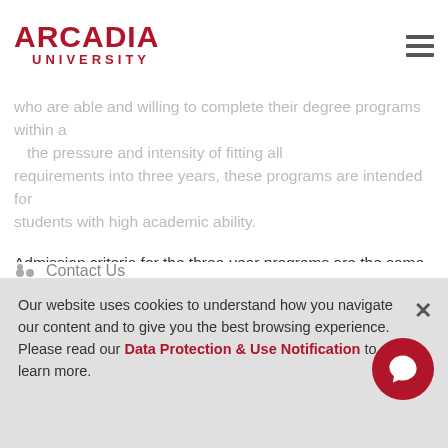ARCADIA UNIVERSITY
who are able and willing to complete their degree programs within a ... the pressure and intensity of fitting all requirements into three years, these programs are intended for students with high academic ability.
Admission criteria for the three-year programs are the same as for the Honors Program.
Contact Us
Office of Enrollment Management
1-877-ARCADIA (1-877-272-2342)
215-572-2910
Our website uses cookies to understand how you navigate our content and to give you the best browsing experience. Please read our Data Protection & Use Notification to learn more.